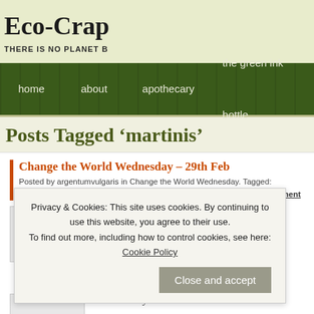Eco-Crap
THERE IS NO PLANET B
home  about  apothecary  the green ink bottle
Posts Tagged ‘martinis’
Change the World Wednesday – 29th Feb
Posted by argentumvulgaris in Change the World Wednesday. Tagged: Brazilians, carb bags, martinis, plastic bags, reusable bags. Leave a comment
I’m going to leap right ... ver ... jok ... ) di ... e th ... foo ...
Privacy & Cookies: This site uses cookies. By continuing to use this website, you agree to their use. To find out more, including how to control cookies, see here: Cookie Policy
Close and accept
the real McCoy would